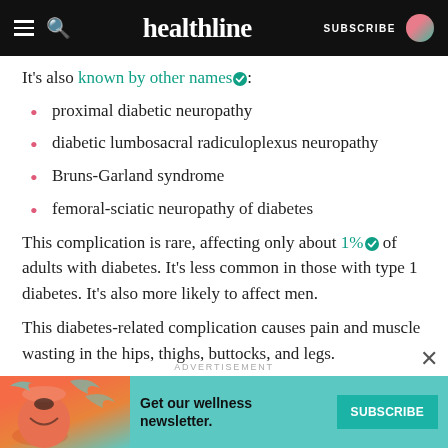healthline — SUBSCRIBE
It's also known by other names:
proximal diabetic neuropathy
diabetic lumbosacral radiculoplexus neuropathy
Bruns-Garland syndrome
femoral-sciatic neuropathy of diabetes
This complication is rare, affecting only about 1% of adults with diabetes. It's less common in those with type 1 diabetes. It's also more likely to affect men.
This diabetes-related complication causes pain and muscle wasting in the hips, thighs, buttocks, and legs.
ADVERTISEMENT
Get our wellness newsletter.